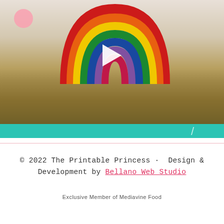[Figure (photo): A video thumbnail showing a hand holding a wooden board with a colorful painted rainbow craft. The rainbow has red, orange, yellow, green, blue, purple arcs with a pink arch at center. A pink circle is visible in the upper left. A white play button triangle is centered on the image. Below the rainbow is a golden-brown wooden plank texture. A teal/turquoise horizontal bar appears at the bottom of the image area with a slash mark.]
© 2022 The Printable Princess •  Design & Development by Bellano Web Studio
Exclusive Member of Mediavine Food